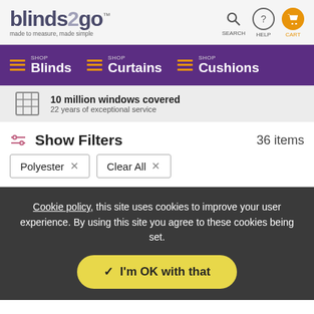[Figure (logo): blinds2go logo with tagline 'made to measure, made simple' and header icons for SEARCH, HELP, CART]
[Figure (screenshot): Navigation bar with purple background showing SHOP Blinds, SHOP Curtains, SHOP Cushions with hamburger icons]
10 million windows covered 22 years of exceptional service
Show Filters 36 items
Polyester × Clear All ×
Cookie policy, this site uses cookies to improve your user experience. By using this site you agree to these cookies being set.
I'm OK with that